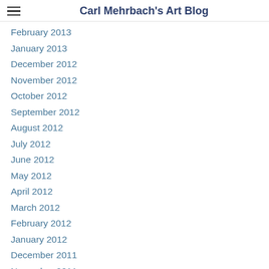Carl Mehrbach's Art Blog
February 2013
January 2013
December 2012
November 2012
October 2012
September 2012
August 2012
July 2012
June 2012
May 2012
April 2012
March 2012
February 2012
January 2012
December 2011
November 2011
October 2011
September 2011